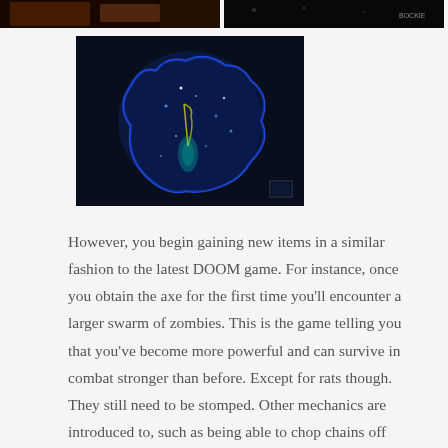[Figure (photo): Top-left partial screenshot of a dark game scene with warm orange/brown tones]
[Figure (photo): Top-right partial screenshot of a very dark game scene, with a small watermark reading BOCKIE]
[Figure (screenshot): A game screenshot showing a glowing blue fluorescent creature or map silhouette on a dark background, with teal and yellow highlights]
However, you begin gaining new items in a similar fashion to the latest DOOM game. For instance, once you obtain the axe for the first time you'll encounter a larger swarm of zombies. This is the game telling you that you've become more powerful and can survive in combat stronger than before. Except for rats though. They still need to be stomped. Other mechanics are introduced to, such as being able to chop chains off locked doors with the axe. At the end of the chapter, for the player with the most